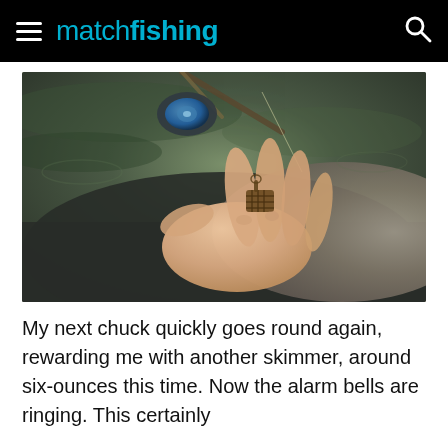match fishing
[Figure (photo): A hand holds a small wire mesh feeder/cage between the fingers, with a fishing reel and rod visible in the blurred background. The person is wearing a dark jacket and is outdoors near water.]
My next chuck quickly goes round again, rewarding me with another skimmer, around six-ounces this time. Now the alarm bells are ringing. This certainly